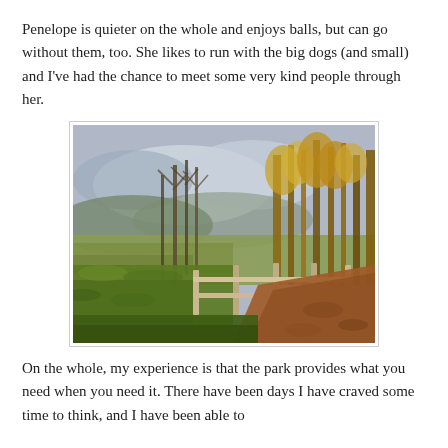Penelope is quieter on the whole and enjoys balls, but can go without them, too. She likes to run with the big dogs (and small) and I've had the chance to meet some very kind people through her.
[Figure (photo): Outdoor nature scene showing a park path with red/brown bark mulch, wooden split-rail fence, autumn trees with bare branches, and open fields under a partly cloudy sky.]
On the whole, my experience is that the park provides what you need when you need it. There have been days I have craved some time to think, and I have been able to...